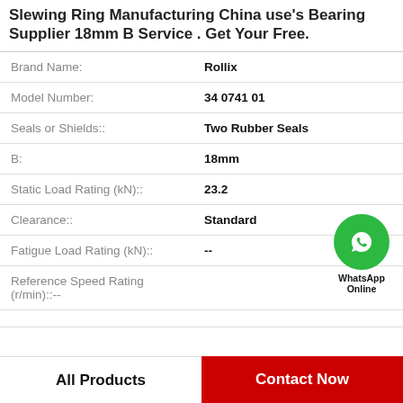Slewing Ring Manufacturing China use's Bearing Supplier 18mm B Service . Get Your Free.
| Property | Value |
| --- | --- |
| Brand Name: | Rollix |
| Model Number: | 34 0741 01 |
| Seals or Shields:: | Two Rubber Seals |
| B: | 18mm |
| Static Load Rating (kN):: | 23.2 |
| Clearance:: | Standard |
| Fatigue Load Rating (kN):: | -- |
| Reference Speed Rating (r/min):: | -- |
[Figure (logo): WhatsApp Online green phone icon bubble]
All Products    Contact Now